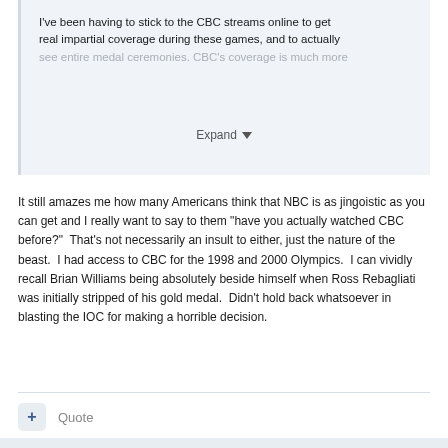I've been having to stick to the CBC streams online to get real impartial coverage during these games, and to actually see entire medal ceremonies. CBC's coverage is much more
Expand
It still amazes me how many Americans think that NBC is as jingoistic as you can get and I really want to say to them "have you actually watched CBC before?"  That's not necessarily an insult to either, just the nature of the beast.  I had access to CBC for the 1998 and 2000 Olympics.  I can vividly recall Brian Williams being absolutely beside himself when Ross Rebagliati was initially stripped of his gold medal.  Didn't hold back whatsoever in blasting the IOC for making a horrible decision.
+ Quote
MisterS01